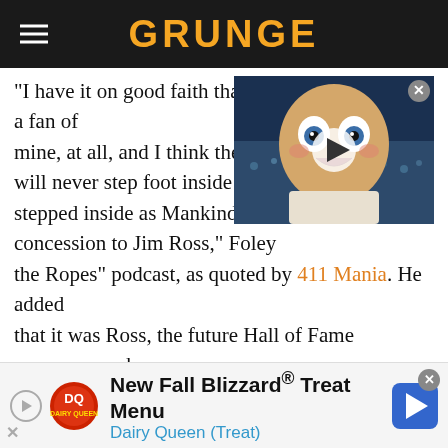GRUNGE
"I have it on good faith that Mr. McMahon wasn't a fan of mine, at all, and I think the dir... will never step foot inside a W... stepped inside as Mankind, an... concession to Jim Ross," Foley... the Ropes" podcast, as quoted by 411 Mania. He added that it was Ross, the future Hall of Fame announcer, who kept bringing up his name to McMahon until the WWE boss was finally convinced in late 1995 that he was worth signing. There was also one big catch – McMahon wanted Foley to "[cover] up his face."
[Figure (screenshot): Video thumbnail showing an animated doll/mascot character with wide eyes and open mouth, in an arena setting, with a white play button overlay]
[Figure (infographic): Dairy Queen advertisement banner: New Fall Blizzard® Treat Menu, Dairy Queen (Treat), with DQ logo and directional arrow icon]